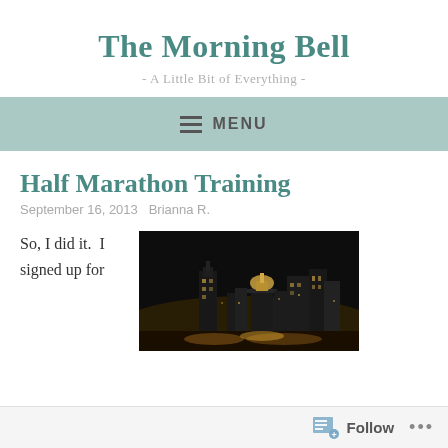The Morning Bell
- A Little Bit of Everything -
MENU
Half Marathon Training
September 16, 2013   Brianna R.
So, I did it.  I signed up for
[Figure (photo): Night cityscape photo showing a city skyline illuminated against a dark sky, with prominent dome building and tall skyscrapers reflected in lights]
Follow   ...